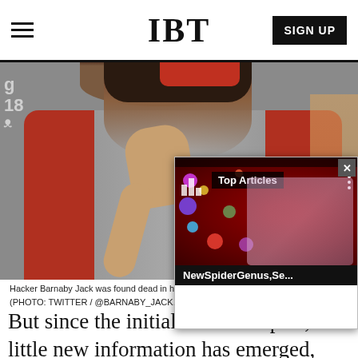IBT
[Figure (photo): Man wearing a grey and red sweater, holding his chin in a thinking pose, photographed outdoors with a blurred background.]
Hacker Barnaby Jack was found dead in h... (PHOTO: TWITTER / @BARNABY_JACK...
[Figure (screenshot): Popup overlay showing Top Articles widget with a David Bowie-themed image and article title 'NewSpiderGenus,Se...']
But since the initial Reuters report, little new information has emerged, leading conspiracy